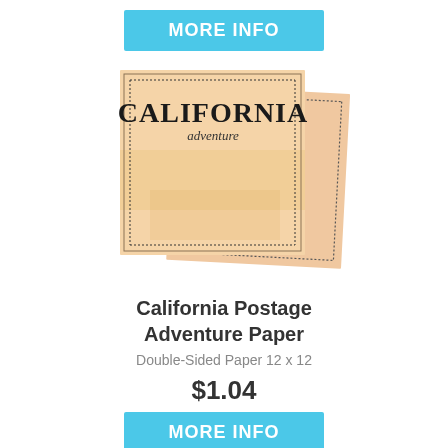[Figure (other): Cyan/blue 'MORE INFO' button at top of page]
[Figure (photo): Product image showing two overlapping scrapbook papers with orange/tan vintage postage-style border and 'CALIFORNIA adventure' text printed on the top sheet]
California Postage Adventure Paper
Double-Sided Paper 12 x 12
$1.04
[Figure (other): Cyan/blue 'MORE INFO' button at bottom of page]